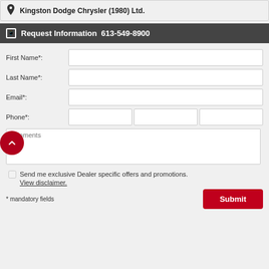Kingston Dodge Chrysler (1980) Ltd.
Request Information  613-549-8900
First Name*:
Last Name*:
Email*:
Phone*:
Comments
Send me exclusive Dealer specific offers and promotions.
View disclaimer.
* mandatory fields